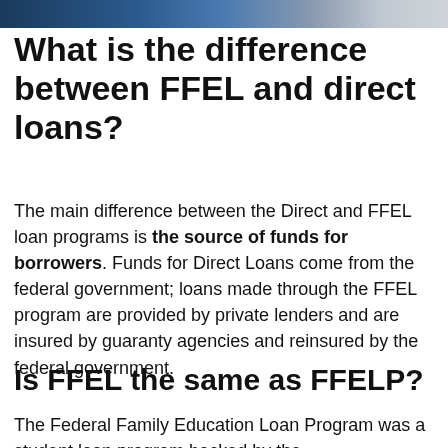[Figure (photo): A photograph strip showing people at the top of the page]
What is the difference between FFEL and direct loans?
The main difference between the Direct and FFEL loan programs is the source of funds for borrowers. Funds for Direct Loans come from the federal government; loans made through the FFEL program are provided by private lenders and are insured by guaranty agencies and reinsured by the federal government.
Is FFEL the same as FFELP?
The Federal Family Education Loan Program was a student loan program backed by the